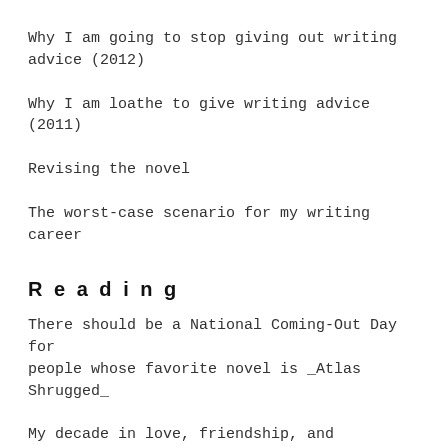Why I am going to stop giving out writing advice (2012)
Why I am loathe to give writing advice (2011)
Revising the novel
The worst-case scenario for my writing career
Reading
There should be a National Coming-Out Day for people whose favorite novel is _Atlas Shrugged_
My decade in love, friendship, and publishing
I don't think reading books is likely to make